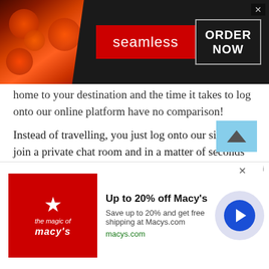[Figure (screenshot): Seamless food delivery advertisement banner with pizza image on left, red Seamless button in center, ORDER NOW box on right, dark background]
home to your destination and the time it takes to log onto our online platform have no comparison!
Instead of travelling, you just log onto our site and join a private chat room and in a matter of seconds you see a stranger on your screen. Since, you don't have to leave your house, online Call App is undoubtedly much easier and more convenient compared to a face-to-face meeting.
It takes a few seconds to log in, plus you do not even have to leave your bed (except to probably grab a charger!). So why would you leave the comfort of your home to travel...
[Figure (screenshot): Macy's advertisement banner with red Macy's logo on left, Up to 20% off Macy's text, Save up to 20% and get free shipping at Macys.com, macys.com URL, and circular next button on right]